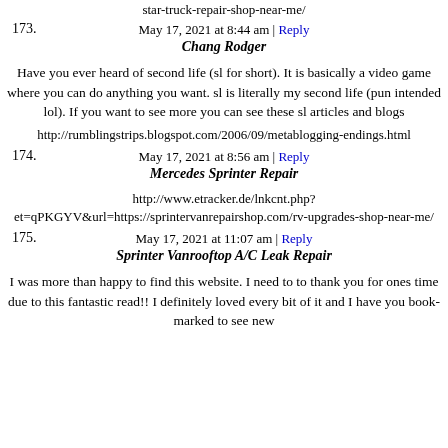star-truck-repair-shop-near-me/
May 17, 2021 at 8:44 am | Reply
173. Chang Rodger
Have you ever heard of second life (sl for short). It is basically a video game where you can do anything you want. sl is literally my second life (pun intended lol). If you want to see more you can see these sl articles and blogs
http://rumblingstrips.blogspot.com/2006/09/metablogging-endings.html
May 17, 2021 at 8:56 am | Reply
174. Mercedes Sprinter Repair
http://www.etracker.de/lnkcnt.php?et=qPKGYV&url=https://sprintervanrepairshop.com/rv-upgrades-shop-near-me/
May 17, 2021 at 11:07 am | Reply
175. Sprinter Vanrooftop A/C Leak Repair
I was more than happy to find this website. I need to to thank you for ones time due to this fantastic read!! I definitely loved every bit of it and I have you book-marked to see new